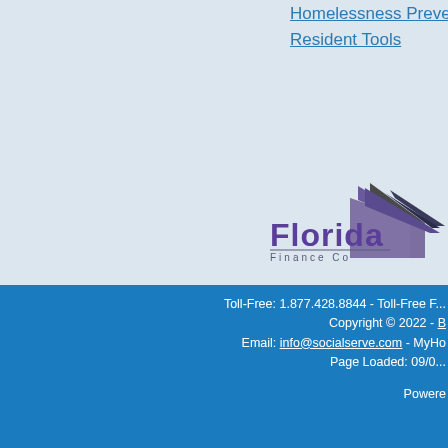Homelessness Preventi... / Resident Tools
[Figure (logo): Florida Housing Finance Corporation logo with purple mountain/house graphic and 'Florida' in purple text, 'Finance Co...' in smaller text below]
Toll-Free: 1.877.428.8844 - Toll-Free ... Copyright © 2022 - ... Email: info@socialserve.com - MyHo... Page Loaded: 09/0... Powered...